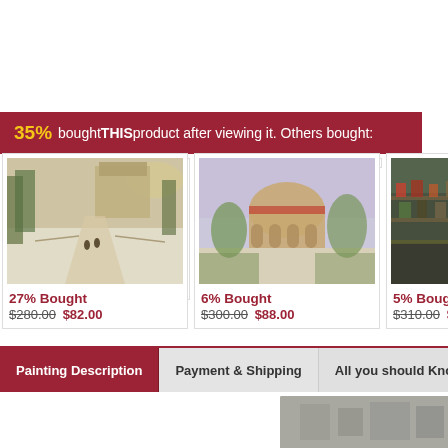35% bought THIS product after viewing it. Others bought:
[Figure (photo): Painting of a snow-covered park path with figures and buildings]
27% Bought $280.00 $82.00
[Figure (photo): Watercolor painting of an ornate building with arches and gardens]
6% Bought $300.00 $88.00
[Figure (photo): Dense colorful painting of a market or bazaar scene]
5% Bought $310.00 $91.00
Painting Description | Payment & Shipping | All you should Know